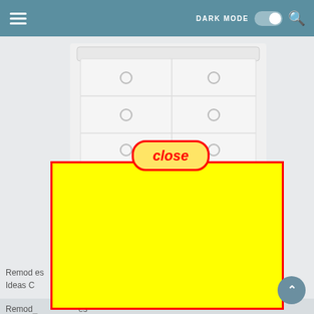DARK MODE [toggle] [search]
[Figure (screenshot): Screenshot of a mobile app UI showing a furniture/dresser product page with a navigation header bar containing hamburger menu, DARK MODE toggle switch, and search icon. A white dresser image is partially visible. A yellow 'close' button with red border is overlaid on the dresser image. A large yellow rectangle with red border covers the lower portion of the screen (advertisement placeholder). Partially visible text reads 'Remod...es Ideas C...' at the bottom. A teal scroll-to-top circular button is visible at the bottom right.]
Remod...es Ideas C...